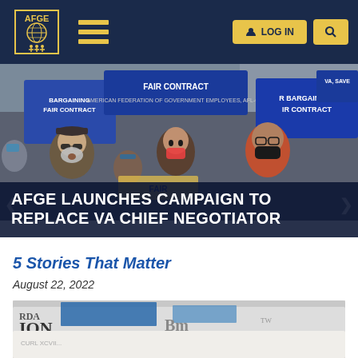[Figure (screenshot): AFGE website navigation bar with logo, hamburger menu, LOG IN button, and search button on dark navy background]
[Figure (photo): Crowd of protesters holding blue signs reading FAIR CONTRACT and BARGAINING FAIR CONTRACT at a rally]
AFGE LAUNCHES CAMPAIGN TO REPLACE VA CHIEF NEGOTIATOR
5 Stories That Matter
August 22, 2022
[Figure (photo): Stack of newspapers in close-up view]